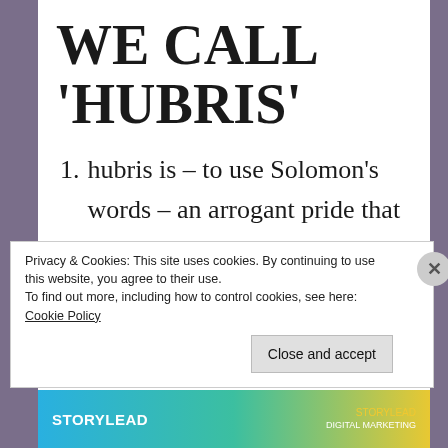WE CALL 'HUBRIS'
1. hubris is – to use Solomon's words – an arrogant pride that leads to presumption and haughtiness and a swagger in one's walk and talk
Privacy & Cookies: This site uses cookies. By continuing to use this website, you agree to their use.
To find out more, including how to control cookies, see here: Cookie Policy
Close and accept